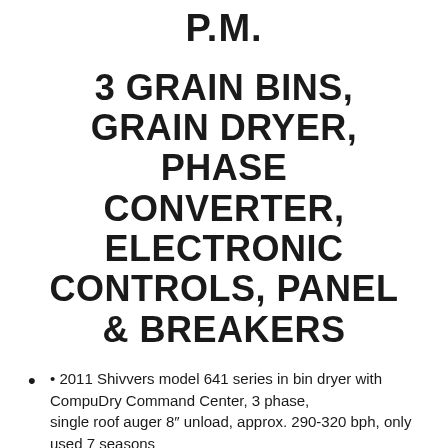P.M.
3 GRAIN BINS, GRAIN DRYER, PHASE CONVERTER, ELECTRONIC CONTROLS, PANEL & BREAKERS
• 2011 Shivvers model 641 series in bin dryer with CompuDry Command Center, 3 phase, single roof auger 8″ unload, approx. 290-320 bph, only used 7 seasons
• 36 ft. 9 ring 22,000 bu., full floor 8″ unload